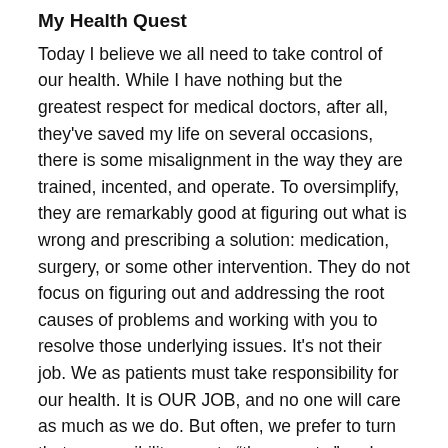My Health Quest
Today I believe we all need to take control of our health. While I have nothing but the greatest respect for medical doctors, after all, they've saved my life on several occasions, there is some misalignment in the way they are trained, incented, and operate. To oversimplify, they are remarkably good at figuring out what is wrong and prescribing a solution: medication, surgery, or some other intervention. They do not focus on figuring out and addressing the root causes of problems and working with you to resolve those underlying issues. It's not their job. We as patients must take responsibility for our health. It is OUR JOB, and no one will care as much as we do. But often, we prefer to turn that responsibility over to “the experts,” and welcome short and easy fixes in the form of a prescription to make the pain or issue go away. The results are horrible, with a US